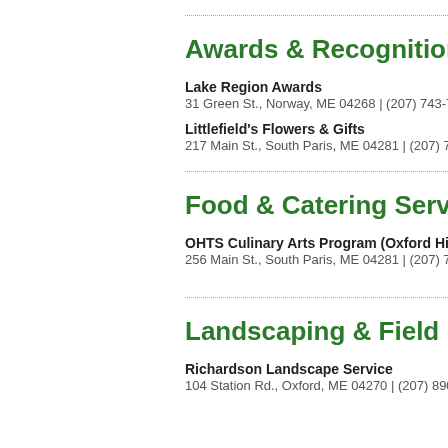232 Center St., Auburn, ME 04210 | (207) 777-74...
Awards & Recognition
Lake Region Awards
31 Green St., Norway, ME 04268 | (207) 743-7799
Littlefield's Flowers & Gifts
217 Main St., South Paris, ME 04281 | (207) 743-...
Food & Catering Services
OHTS Culinary Arts Program (Oxford Hi...
256 Main St., South Paris, ME 04281 | (207) 743-...
Landscaping & Field Maintenan...
Richardson Landscape Service
104 Station Rd., Oxford, ME 04270 | (207) 890-05...